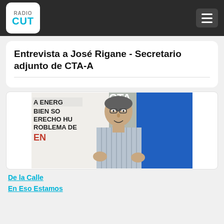Radio CUT
Entrevista a José Rigane - Secretario adjunto de CTA-A
[Figure (photo): Photo of José Rigane speaking, with CTA banner in background showing partial text: LA ENERGIA, BIEN SO, ERECHO HU, ROBLEMA DE, EN. Man in striped shirt gesturing with hands.]
De la Calle
En Eso Estamos